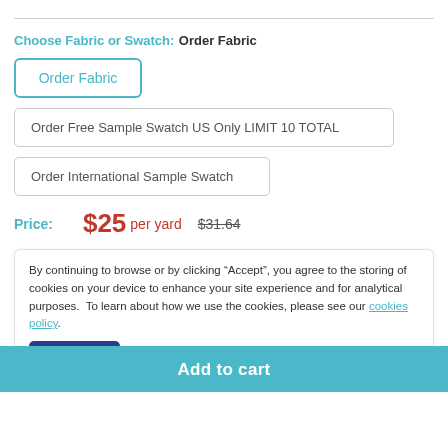Choose Fabric or Swatch: Order Fabric
Order Fabric
Order Free Sample Swatch US Only LIMIT 10 TOTAL
Order International Sample Swatch
Price: $25 per yard  $31.64
By continuing to browse or by clicking "Accept", you agree to the storing of cookies on your device to enhance your site experience and for analytical purposes.  To learn about how we use the cookies, please see our cookies policy.
Accept
Add to cart